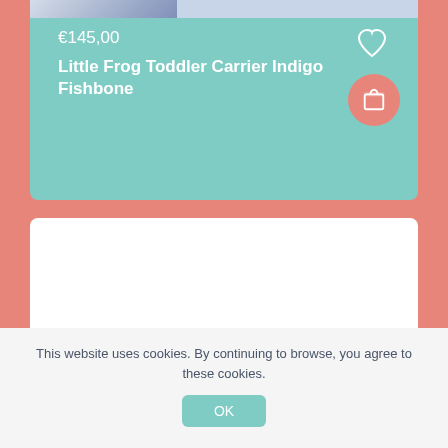€145,00
Little Frog Toddler Carrier Indigo Fishbone
[Figure (screenshot): White blank product card area]
[Figure (other): Scroll to top button - dark navy rounded square with upward arrow]
This website uses cookies. By continuing to browse, you agree to these cookies.
OK